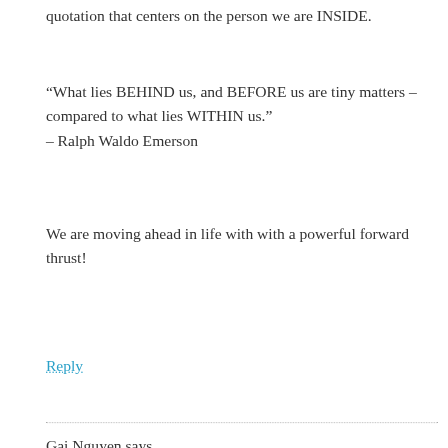quotation that centers on the person we are INSIDE.
“What lies BEHIND us, and BEFORE us are tiny matters – compared to what lies WITHIN us.”
– Ralph Waldo Emerson
We are moving ahead in life with with a powerful forward thrust!
Reply
Gai Nguyen says
September 27, 2014 at 11:02 am